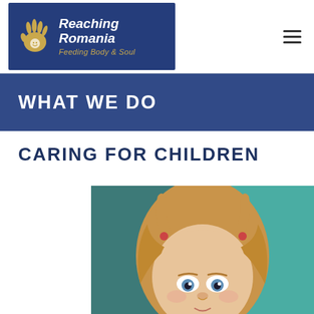Reaching Romania — Feeding Body & Soul
WHAT WE DO
CARING FOR CHILDREN
[Figure (photo): Close-up photo of a young blonde girl with pigtails, looking upward, against a teal/turquoise background]